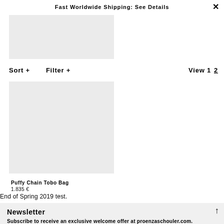Fast Worldwide Shipping: See Details
[Figure (photo): Gray placeholder image rectangle at top left]
Sort +    Filter +                                                    View 1  2
[Figure (photo): Gray placeholder product image for Puffy Chain Tobo Bag]
Puffy Chain Tobo Bag
1.835 €
End of Spring 2019 test.
Newsletter
Subscribe to receive an exclusive welcome offer at proenzaschouler.com.